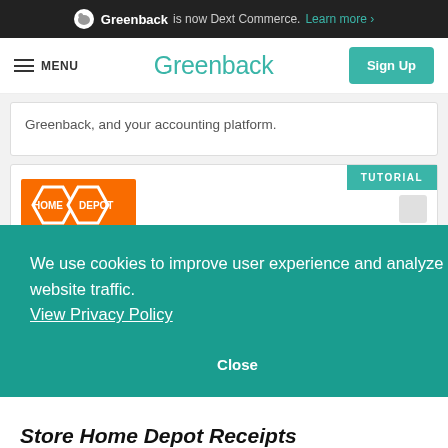Greenback is now Dext Commerce. Learn more ›
MENU  Greenback  Sign Up
Greenback, and your accounting platform.
[Figure (screenshot): Tutorial card with Home Depot logo (orange background) and a TUTORIAL badge in teal]
We use cookies to improve user experience and analyze website traffic. View Privacy Policy
Close
Store Home Depot Receipts